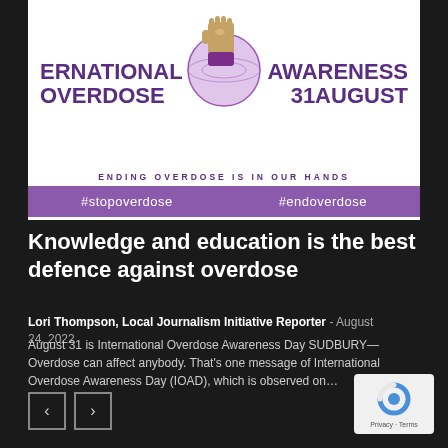[Figure (infographic): International Overdose Awareness Day banner. Purple text reading 'INTERNATIONAL OVERDOSE' on left, 'AWARENESS 31 AUGUST' on right, with a raised fist over a globe in the center. Slogan: 'ENDING OVERDOSE IS IN OUR HANDS'. Purple bar at bottom with hashtags #stopoverdose and #endoverdose.]
Knowledge and education is the best defence against overdose
Lori Thompson, Local Journalism Initiative Reporter - August 24, 2022
August 31 is International Overdose Awareness Day SUDBURY— Overdose can affect anybody. That's one message of International Overdose Awareness Day (IOAD), which is observed on...